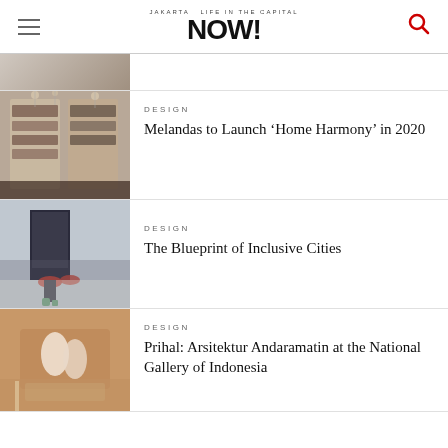JAKARTA NOW! Life in the Capital
[Figure (photo): Partial view of top article thumbnail]
[Figure (photo): Interior design/retail store with shelves and hanging lights]
DESIGN
Melandas to Launch ‘Home Harmony’ in 2020
[Figure (photo): Person walking up stairs, pink shopping bags visible]
DESIGN
The Blueprint of Inclusive Cities
[Figure (photo): People in a gallery or corridor with warm wood tones]
DESIGN
Prihal: Arsitektur Andaramatin at the National Gallery of Indonesia